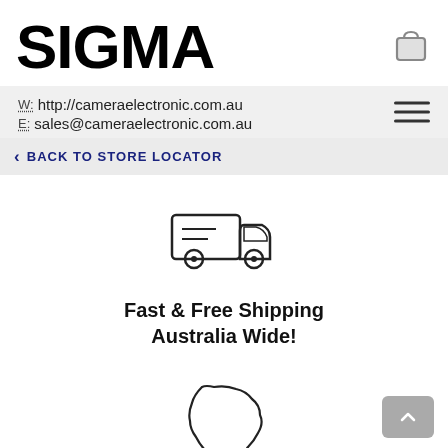[Figure (logo): SIGMA logo in bold black text]
[Figure (illustration): Shopping cart/bag icon]
W: http://cameraelectronic.com.au
E: sales@cameraelectronic.com.au
‹ BACK TO STORE LOCATOR
[Figure (illustration): Delivery truck icon with lines indicating a package]
Fast & Free Shipping Australia Wide!
[Figure (illustration): Outline map of Australia]
Genuine Australian Stock